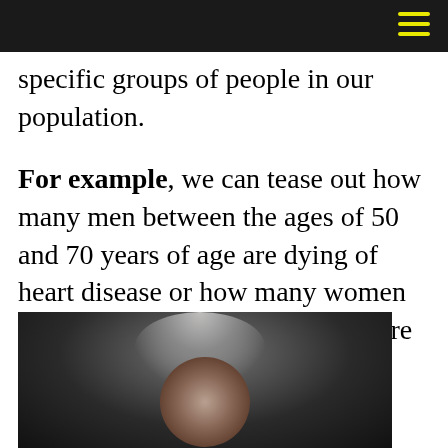specific groups of people in our population.
For example, we can tease out how many men between the ages of 50 and 70 years of age are dying of heart disease or how many women between 35 and 50 years of age are dying of breast cancer.
[Figure (photo): Close-up photograph of an elderly woman with grey hair, dark background, partial face visible]